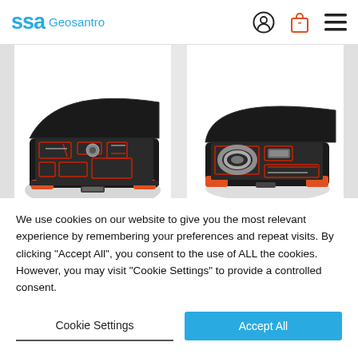SSA Geosantro
[Figure (photo): Open black and orange toolbox/case with various tools and instruments arranged in foam cutouts]
[Figure (photo): Open black and orange toolbox/case with a coiled cable/hose and instruments arranged inside]
We use cookies on our website to give you the most relevant experience by remembering your preferences and repeat visits. By clicking “Accept All”, you consent to the use of ALL the cookies. However, you may visit "Cookie Settings" to provide a controlled consent.
Cookie Settings
Accept All